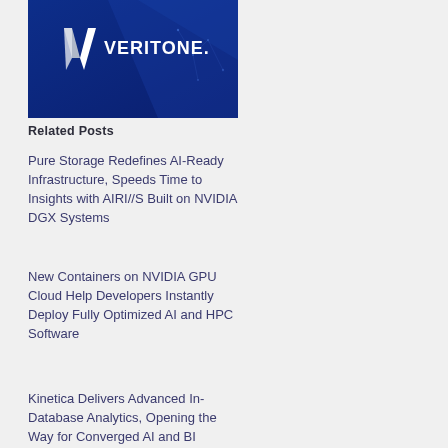[Figure (logo): Veritone logo on a dark blue background with geometric/network pattern. White V-shaped chevron logo mark on the left and 'VERITONE.' text in white on the right.]
Related Posts
Pure Storage Redefines AI-Ready Infrastructure, Speeds Time to Insights with AIRI//S Built on NVIDIA DGX Systems
New Containers on NVIDIA GPU Cloud Help Developers Instantly Deploy Fully Optimized AI and HPC Software
Kinetica Delivers Advanced In-Database Analytics, Opening the Way for Converged AI and BI